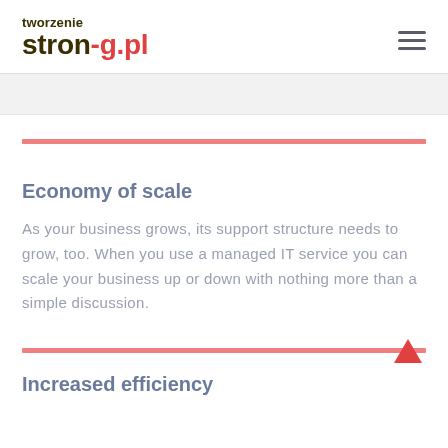tworzenie stron-g.pl
Economy of scale
As your business grows, its support structure needs to grow, too. When you use a managed IT service you can scale your business up or down with nothing more than a simple discussion.
Increased efficiency